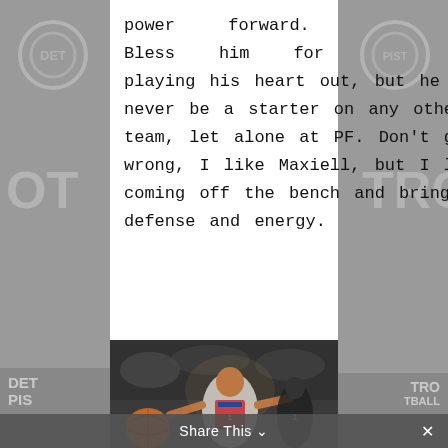power forward. Bless him for playing his heart out, but he would never be a starter on any other team, let alone at PF. Don't get me wrong, I like Maxiell, but I like him coming off the bench and bringing defense and energy.
[Figure (photo): Black and white photo of a basketball player in a Detroit Pistons uniform going for a layup or rebound, with colored basketball highlights, against a crowd background.]
Share This ∨  ×